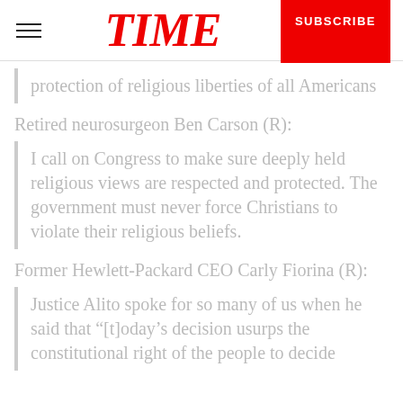TIME | SUBSCRIBE
protection of religious liberties of all Americans
Retired neurosurgeon Ben Carson (R):
I call on Congress to make sure deeply held religious views are respected and protected. The government must never force Christians to violate their religious beliefs.
Former Hewlett-Packard CEO Carly Fiorina (R):
Justice Alito spoke for so many of us when he said that “[t]oday’s decision usurps the constitutional right of the people to decide